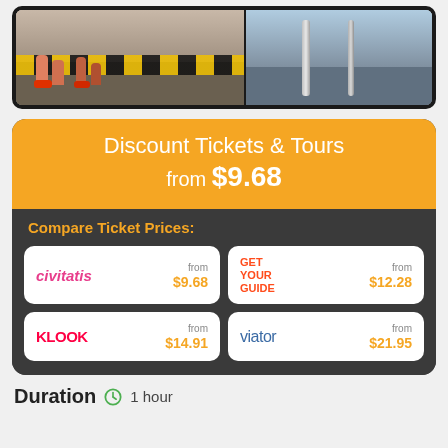[Figure (photo): Photo of people's feet/legs at a tourist attraction platform with yellow-black safety stripes and glass barriers]
Discount Tickets & Tours
from $9.68
Compare Ticket Prices:
| Provider | Price |
| --- | --- |
| civitatis | from $9.68 |
| GET YOUR GUIDE | from $12.28 |
| KLOOK | from $14.91 |
| viator | from $21.95 |
Duration   🕐 1 hour